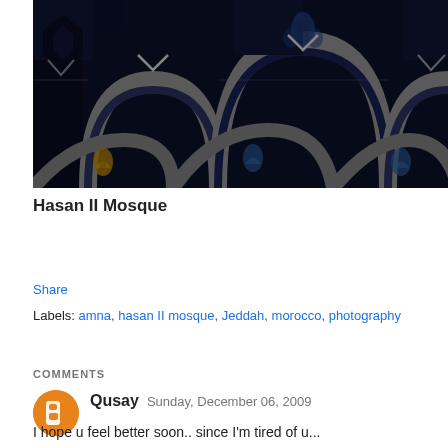[Figure (photo): Dark blue and black mosaic/tile pattern from Hassan II Mosque - geometric Islamic architectural decoration with arched motifs and fleur-de-lis designs]
Hasan II Mosque
Share
Labels: amna, hasan II mosque, Jeddah, morocco, photography
COMMENTS
Qusay  Sunday, December 06, 2009
I hope u feel better soon.. since I'm tired of u...